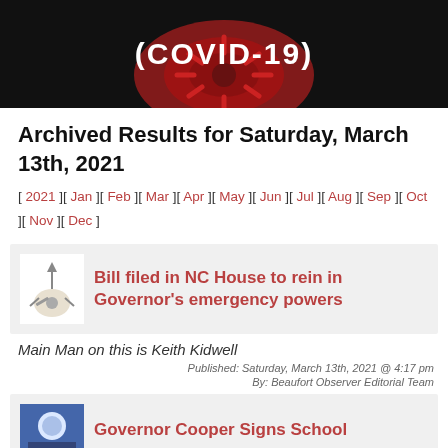[Figure (photo): COVID-19 header banner with virus image on dark background and white text (COVID-19)]
Archived Results for Saturday, March 13th, 2021
[ 2021 ][ Jan ][ Feb ][ Mar ][ Apr ][ May ][ Jun ][ Jul ][ Aug ][ Sep ][ Oct ][ Nov ][ Dec ]
Bill filed in NC House to rein in Governor's emergency powers
Main Man on this is Keith Kidwell
Published: Saturday, March 13th, 2021 @ 4:17 pm
By: Beaufort Observer Editorial Team
Governor Cooper Signs School